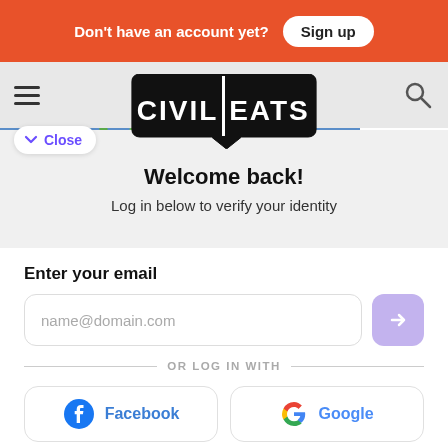Don't have an account yet? Sign up
[Figure (logo): Civil Eats logo - black speech bubble with white bold text 'CIVIL EATS']
Close
marching on Wall
Welcome back!
Log in below to verify your identity
Enter your email
name@domain.com
OR LOG IN WITH
Facebook
Google